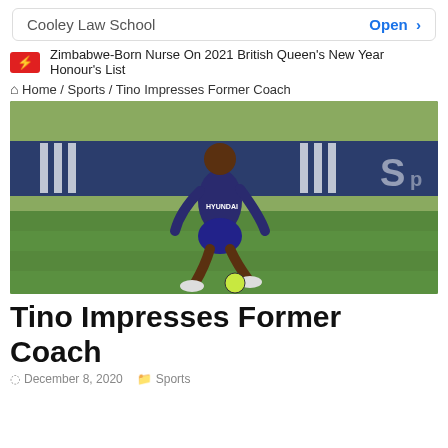Cooley Law School   Open >
Zimbabwe-Born Nurse On 2021 British Queen's New Year Honour's List
Home / Sports / Tino Impresses Former Coach
[Figure (photo): A young Black footballer wearing a Hyundai-sponsored Lyon training kit (dark blue/purple) dribbling a ball on a green training pitch, with Adidas signage in the background.]
Tino Impresses Former Coach
December 8, 2020   Sports